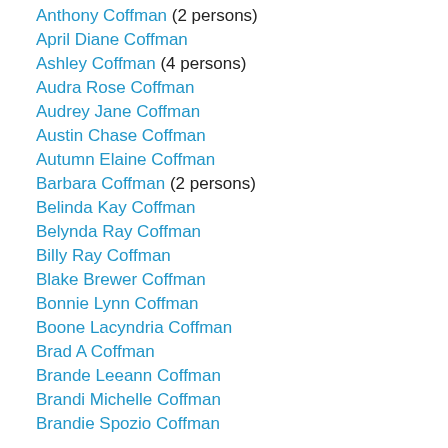Anthony Coffman (2 persons)
April Diane Coffman
Ashley Coffman (4 persons)
Audra Rose Coffman
Audrey Jane Coffman
Austin Chase Coffman
Autumn Elaine Coffman
Barbara Coffman (2 persons)
Belinda Kay Coffman
Belynda Ray Coffman
Billy Ray Coffman
Blake Brewer Coffman
Bonnie Lynn Coffman
Boone Lacyndria Coffman
Brad A Coffman
Brande Leeann Coffman
Brandi Michelle Coffman
Brandie Spozio Coffman